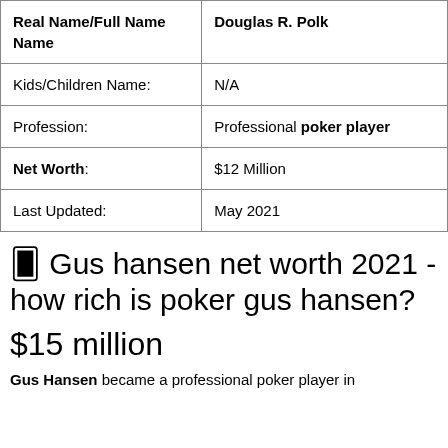| Real Name/Full Name | Douglas R. Polk |
| --- | --- |
| Kids/Children Name: | N/A |
| Profession: | Professional poker player |
| Net Worth: | $12 Million |
| Last Updated: | May 2021 |
🃏 Gus hansen net worth 2021 - how rich is poker gus hansen?
$15 million
Gus Hansen became a professional poker player in